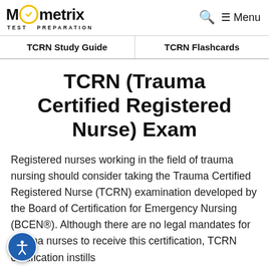Mometrix TEST PREPARATION — Menu
TCRN Study Guide | TCRN Flashcards
TCRN (Trauma Certified Registered Nurse) Exam
Registered nurses working in the field of trauma nursing should consider taking the Trauma Certified Registered Nurse (TCRN) examination developed by the Board of Certification for Emergency Nursing (BCEN®). Although there are no legal mandates for trauma nurses to receive this certification, TCRN certification instills